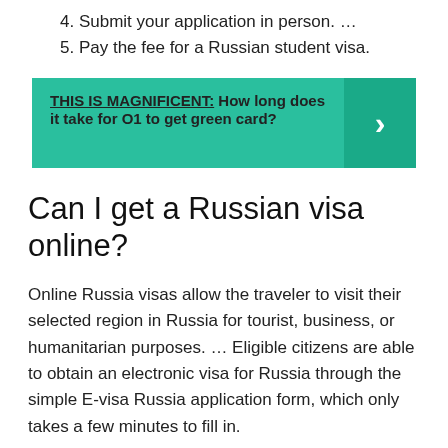4. Submit your application in person. …
5. Pay the fee for a Russian student visa.
[Figure (infographic): Teal banner with text 'THIS IS MAGNIFICENT: How long does it take for O1 to get green card?' and a right-arrow chevron on a darker teal right panel.]
Can I get a Russian visa online?
Online Russia visas allow the traveler to visit their selected region in Russia for tourist, business, or humanitarian purposes. … Eligible citizens are able to obtain an electronic visa for Russia through the simple E-visa Russia application form, which only takes a few minutes to fill in.